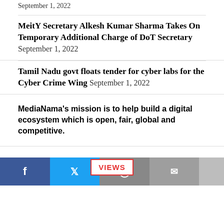September 1, 2022
MeitY Secretary Alkesh Kumar Sharma Takes On Temporary Additional Charge of DoT Secretary September 1, 2022
Tamil Nadu govt floats tender for cyber labs for the Cyber Crime Wing September 1, 2022
MediaNama’s mission is to help build a digital ecosystem which is open, fair, global and competitive.
VIEWS
[Figure (other): Social sharing bar with Facebook, Twitter, WhatsApp, Email buttons]